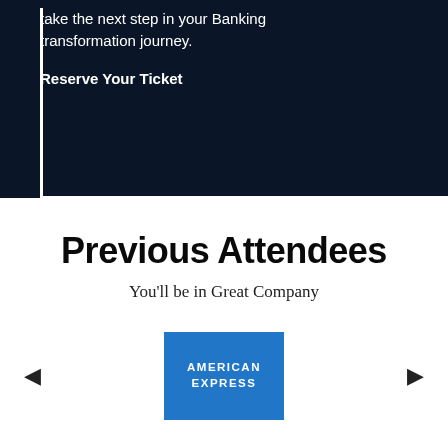take the next step in your Banking transformation journey.
Reserve Your Ticket
Previous Attendees
You'll be in Great Company
[Figure (logo): American Express blue logo with white text reading AMERICAN EXPRESS]